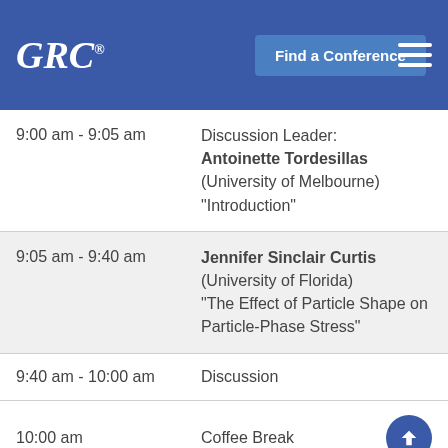GRC® — Find a Conference
| Time | Event |
| --- | --- |
| 9:00 am - 9:05 am | Discussion Leader: Antoinette Tordesillas (University of Melbourne) "Introduction" |
| 9:05 am - 9:40 am | Jennifer Sinclair Curtis (University of Florida) "The Effect of Particle Shape on Particle-Phase Stress" |
| 9:40 am - 10:00 am | Discussion |
| 10:00 am | Coffee Break |